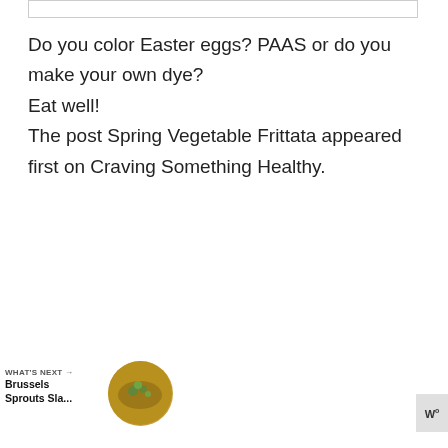Do you color Easter eggs?  PAAS or do you make your own dye?
Eat well!
The post Spring Vegetable Frittata appeared first on Craving Something Healthy.
[Figure (screenshot): Screenshot of a webpage showing a blog post footer text, social interaction buttons (heart/like and share), a 'What's Next' recommendation widget showing 'Brussels Sprouts Sla...' with a food thumbnail, and a dark space-themed banner with the text 'SHE CAN STEM' featuring illustrated planets and an astronaut helmet.]